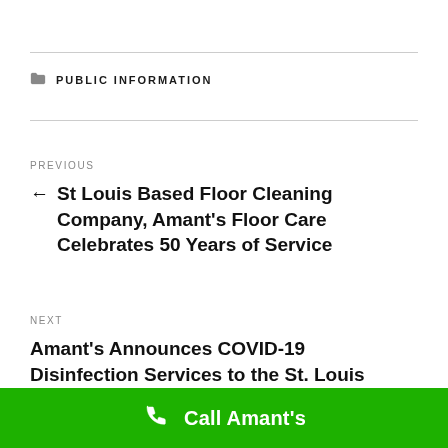PUBLIC INFORMATION
PREVIOUS
← St Louis Based Floor Cleaning Company, Amant's Floor Care Celebrates 50 Years of Service
NEXT
Amant's Announces COVID-19 Disinfection Services to the St. Louis Region →
Call Amant's